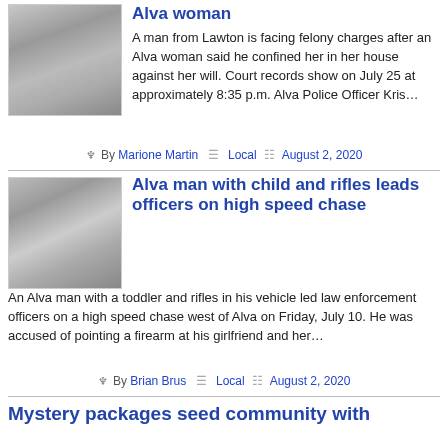Alva woman
A man from Lawton is facing felony charges after an Alva woman said he confined her in her house against her will. Court records show on July 25 at approximately 8:35 p.m. Alva Police Officer Kris…
By Marione Martin  Local  August 2, 2020
Alva man with child and rifles leads officers on high speed chase
An Alva man with a toddler and rifles in his vehicle led law enforcement officers on a high speed chase west of Alva on Friday, July 10. He was accused of pointing a firearm at his girlfriend and her…
By Brian Brus  Local  August 2, 2020
Mystery packages seed community with